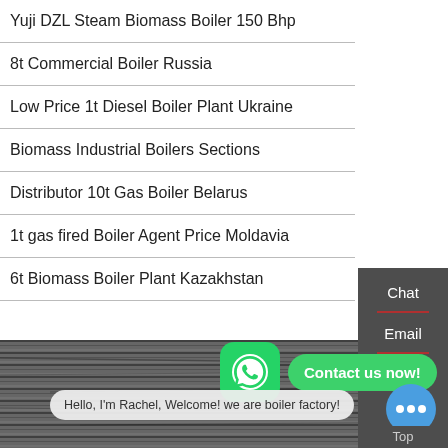Yuji DZL Steam Biomass Boiler 150 Bhp
8t Commercial Boiler Russia
Low Price 1t Diesel Boiler Plant Ukraine
Biomass Industrial Boilers Sections
Distributor 10t Gas Boiler Belarus
1t gas fired Boiler Agent Price Moldavia
6t Biomass Boiler Plant Kazakhstan
[Figure (screenshot): Dark sidebar panel with Chat, Email, Contact labels separated by red horizontal lines]
[Figure (photo): Dark stone/concrete textured background in the lower portion of the page]
[Figure (infographic): WhatsApp green rounded icon button and green pill-shaped 'Contact us now!' bubble]
Hello, I'm Rachel, Welcome! we are boiler factory!
Top